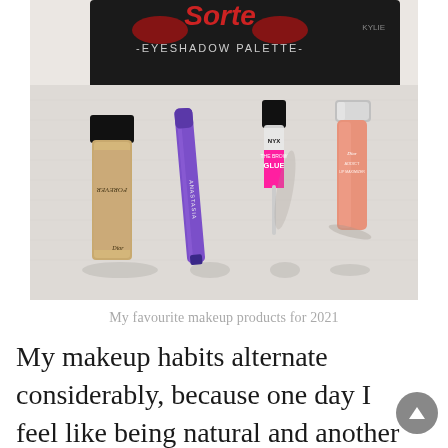[Figure (photo): A flat-lay photo on a white textured cloth showing makeup products: a Dior Forever foundation bottle, a purple Anastasia Beverly Hills brow pencil, an NYX Professional Makeup The Brow Glue in a black and pink tube, a Dior Addict Lip Maximizer gloss, and a Kylie Cosmetics eyeshadow palette at the top.]
My favourite makeup products for 2021
My makeup habits alternate considerably, because one day I feel like being natural and another one I can be the queen of